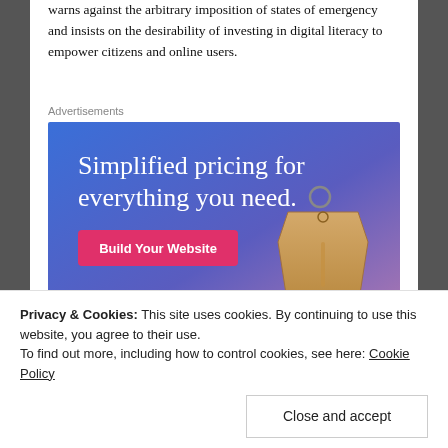warns against the arbitrary imposition of states of emergency and insists on the desirability of investing in digital literacy to empower citizens and online users.
Advertisements
[Figure (illustration): Advertisement banner with blue-to-purple gradient background showing text 'Simplified pricing for everything you need.' with a pink 'Build Your Website' button and a 3D price tag image on the right.]
Privacy & Cookies: This site uses cookies. By continuing to use this website, you agree to their use.
To find out more, including how to control cookies, see here: Cookie Policy